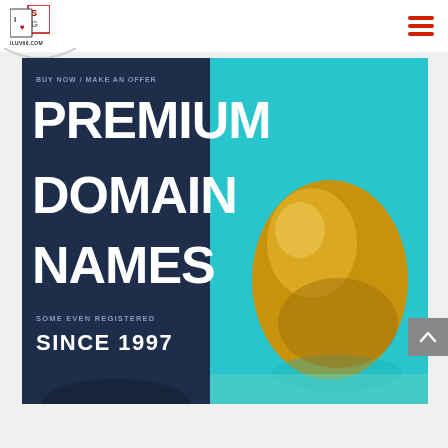[Figure (logo): ILUV66.COM logo with red heart icon and 'I S G' letters in a square box]
[Figure (illustration): Hamburger/menu icon with three red horizontal lines]
[Figure (illustration): Decorative smile arc below logo]
[Figure (infographic): Premium Domain Names advertisement banner. Left panel: dark navy blue background with text 'BUY NOW / MAKE AN OFFER', 'PREMIUM', 'DOMAIN', 'NAMES', 'SOME EVEN REGISTERED', 'SINCE 1997'. Right panel: cyan/teal background with a golden egg photo.]
[Figure (illustration): Grey scroll-to-top button with upward chevron arrow]